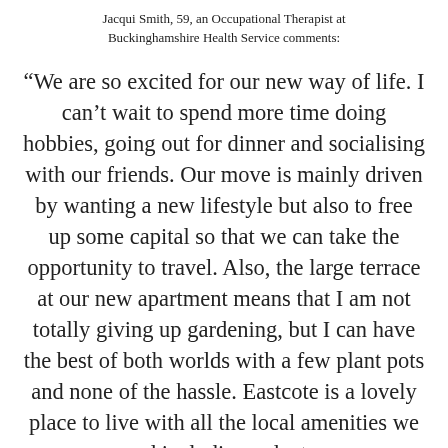Jacqui Smith, 59, an Occupational Therapist at Buckinghamshire Health Service comments:
“We are so excited for our new way of life. I can’t wait to spend more time doing hobbies, going out for dinner and socialising with our friends. Our move is mainly driven by wanting a new lifestyle but also to free up some capital so that we can take the opportunity to travel. Also, the large terrace at our new apartment means that I am not totally giving up gardening, but I can have the best of both worlds with a few plant pots and none of the hassle. Eastcote is a lovely place to live with all the local amenities we need including a doctors